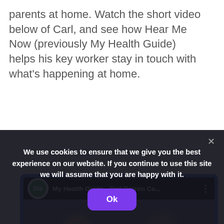parents at home. Watch the short video below of Carl, and see how Hear Me Now (previously My Health Guide)  helps his key worker stay in touch with what's happening at home.
[Figure (screenshot): YouTube video embed showing 'My Health Guide - Carl Barron Ca...' with two people visible in thumbnail and a red play button]
We use cookies to ensure that we give you the best experience on our website. If you continue to use this site we will assume that you are happy with it.